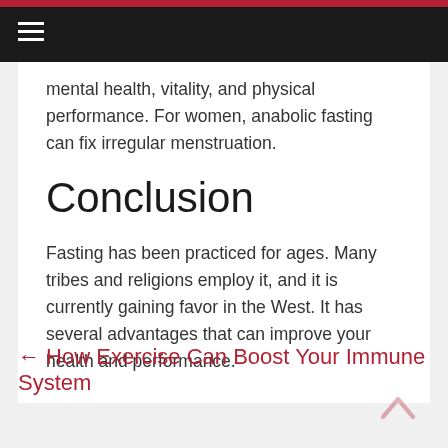≡ (hamburger menu)
mental health, vitality, and physical performance. For women, anabolic fasting can fix irregular menstruation.
Conclusion
Fasting has been practiced for ages. Many tribes and religions employ it, and it is currently gaining favor in the West. It has several advantages that can improve your health and performance.
← How Exercise Can Boost Your Immune System